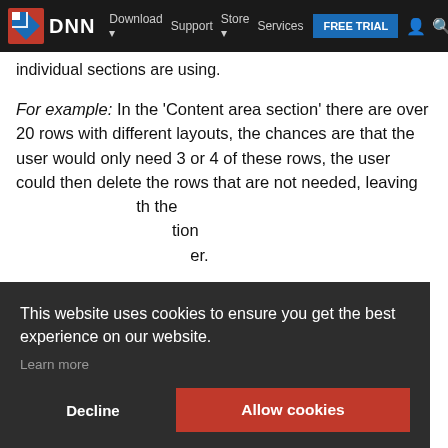Download  Support  Store  Services  [icons]  DNN  FREE TRIAL
individual sections are using.
For example: In the ‘Content area section’ there are over 20 rows with different layouts, the chances are that the user would only need 3 or 4 of these rows, the user could then delete the rows that are not needed, leaving [partially obscured text] th the [obscured] tion er.
This website uses cookies to ensure you get the best experience on our website. Learn more
Decline  Allow cookies
example, if you change the top bar include the the